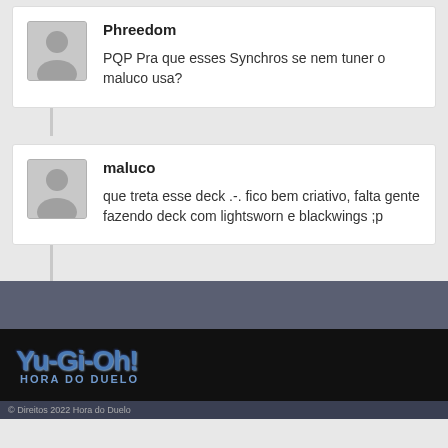Phreedom
PQP Pra que esses Synchros se nem tuner o maluco usa?
maluco
que treta esse deck .-. fico bem criativo, falta gente fazendo deck com lightsworn e blackwings ;p
[Figure (logo): Yu-Gi-Oh! Hora do Duelo logo on dark background]
© Direitos 2022 Hora do Duelo